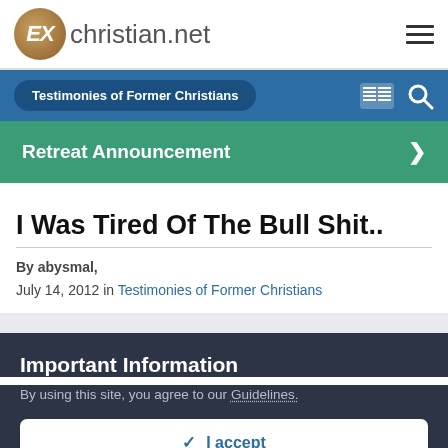ExChristian.net
Testimonies of Former Christians
Retreat Announcement
I Was Tired Of The Bull Shit..
By abysmal, July 14, 2012 in Testimonies of Former Christians
Important Information
By using this site, you agree to our Guidelines.
✓ I accept